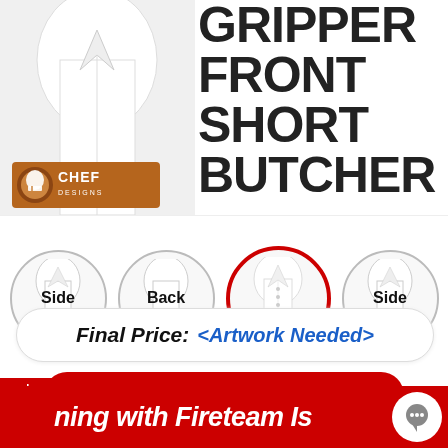[Figure (photo): White chef shirt shown from top/partial view on left side]
GRIPPER FRONT SHORT BUTCHER
[Figure (logo): Chef Designs brand logo - orange/brown background with chef hat icon and text CHEF DESIGNS]
[Figure (photo): Four circular thumbnail images of white chef shirts showing Side, Back, Front (active/selected with red border), and Side views]
each  and  Sleeves, Back etc.
Quote for:  and
Final Price: <Artwork Needed>
ADD TO CART
ning with Fireteam Is